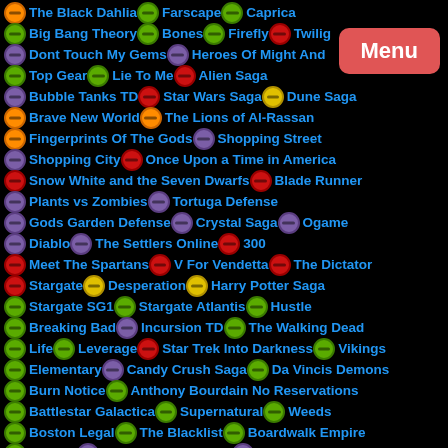The Black Dahlia | Farscape | Caprica
Big Bang Theory | Bones | Firefly | Twilig...
Dont Touch My Gems | Heroes Of Might And
Top Gear | Lie To Me | Alien Saga
Bubble Tanks TD | Star Wars Saga | Dune Saga
Brave New World | The Lions of Al-Rassan
Fingerprints Of The Gods | Shopping Street
Shopping City | Once Upon a Time in America
Snow White and the Seven Dwarfs | Blade Runner
Plants vs Zombies | Tortuga Defense
Gods Garden Defense | Crystal Saga | Ogame
Diablo | The Settlers Online | 300
Meet The Spartans | V For Vendetta | The Dictator
Stargate | Desperation | Harry Potter Saga
Stargate SG1 | Stargate Atlantis | Hustle
Breaking Bad | Incursion TD | The Walking Dead
Life | Leverage | Star Trek Into Darkness | Vikings
Elementary | Candy Crush Saga | Da Vincis Demons
Burn Notice | Anthony Bourdain No Reservations
Battlestar Galactica | Supernatural | Weeds
Boston Legal | The Blacklist | Boardwalk Empire
Jericho | Plants vs Zombies 2 | Real Racing 3
The Internets Own Boy | Silicon Valley | Mr Robot